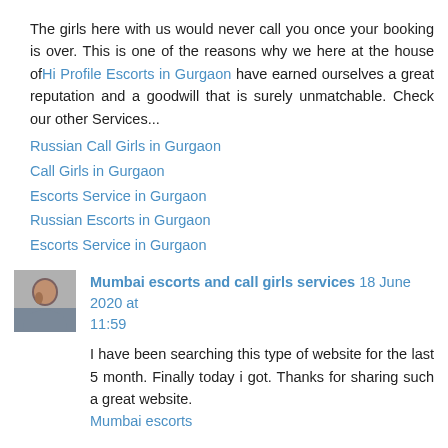The girls here with us would never call you once your booking is over. This is one of the reasons why we here at the house of Hi Profile Escorts in Gurgaon have earned ourselves a great reputation and a goodwill that is surely unmatchable. Check our other Services...
Russian Call Girls in Gurgaon
Call Girls in Gurgaon
Escorts Service in Gurgaon
Russian Escorts in Gurgaon
Escorts Service in Gurgaon
Reply
Mumbai escorts and call girls services 18 June 2020 at 11:59
I have been searching this type of website for the last 5 month. Finally today i got. Thanks for sharing such a great website.
Mumbai escorts